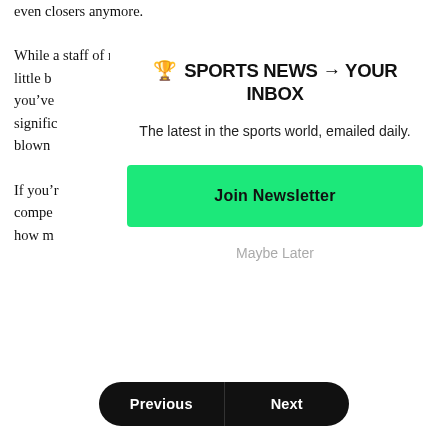even closers anymore.
While a staff of reliable relievers can help you win, there's little b... you've... signific... blown...
If you'... compe... how m...
🏆 SPORTS NEWS → YOUR INBOX
The latest in the sports world, emailed daily.
Join Newsletter
Maybe Later
Previous | Next